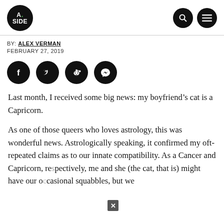A.SIDE
BY: ALEX VERMAN
FEBRUARY 27, 2019
[Figure (infographic): Social share icons row: Facebook, Twitter, Reddit, Messenger — each in a dark circle]
Last month, I received some big news: my boyfriend’s cat is a Capricorn.
As one of those queers who loves astrology, this was wonderful news. Astrologically speaking, it confirmed my oft-repeated claims as to our innate compatibility. As a Cancer and Capricorn, respectively, me and she (the cat, that is) might have our occasional squabbles, but we